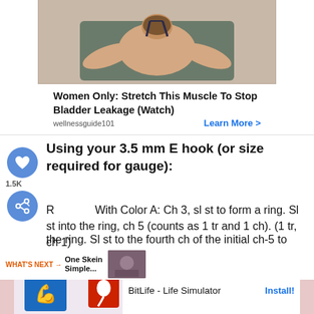[Figure (photo): Advertisement card showing a woman doing a yoga/stretching pose, viewed from behind, on a mat.]
Women Only: Stretch This Muscle To Stop Bladder Leakage (Watch)
wellnessguide101    Learn More >
Using your 3.5 mm E hook (or size required for gauge):
1.5K
Round 1: With Color A: Ch 3, sl st to form a ring. Sl st into the ring, ch 5 (counts as 1 tr and 1 ch). (1 tr, ch 1) times into the ring. Sl st to the fourth ch of the initial ch-5 to join. [12 tr, 12 ch1sp]
WHAT'S NEXT → One Skein Simple...
[Figure (photo): Small thumbnail image for 'What's Next' content widget.]
[Figure (screenshot): Bottom advertisement banner: BitLife - Life Simulator app ad with Install button.]